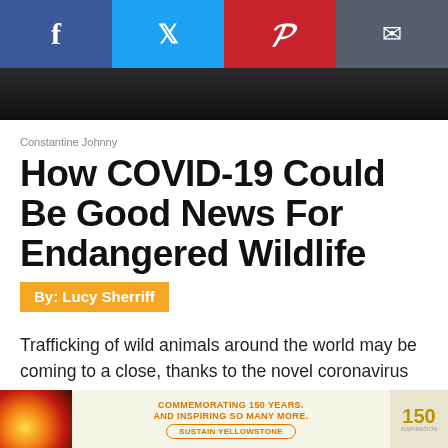[Figure (other): Social media sharing bar with Facebook, Twitter, Pinterest, and email buttons]
[Figure (photo): Dark hero image showing animal fur/texture]
Constantine Johnny
How COVID-19 Could Be Good News For Endangered Wildlife
By: Lucy Sherriff
Trafficking of wild animals around the world may be coming to a close, thanks to the novel coronavirus pandemic that is sweeping the globe.
[Figure (other): Advertisement banner: Commemorating 150 Years. And Inspiring So Many More. Sustain Yellowstone]